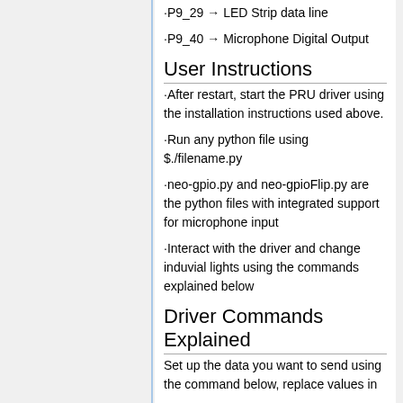·P9_29 → LED Strip data line
·P9_40 → Microphone Digital Output
User Instructions
·After restart, start the PRU driver using the installation instructions used above.
·Run any python file using $./filename.py
·neo-gpio.py and neo-gpioFlip.py are the python files with integrated support for microphone input
·Interact with the driver and change induvial lights using the commands explained below
Driver Commands Explained
Set up the data you want to send using the command below, replace values in